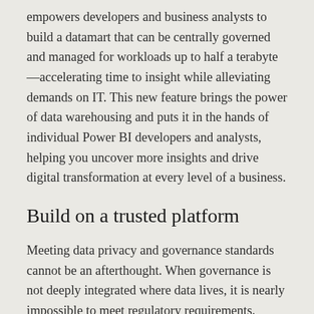empowers developers and business analysts to build a datamart that can be centrally governed and managed for workloads up to half a terabyte—accelerating time to insight while alleviating demands on IT. This new feature brings the power of data warehousing and puts it in the hands of individual Power BI developers and analysts, helping you uncover more insights and drive digital transformation at every level of a business.
Build on a trusted platform
Meeting data privacy and governance standards cannot be an afterthought. When governance is not deeply integrated where data lives, it is nearly impossible to meet regulatory requirements.
Data governance has become top of mind for almost